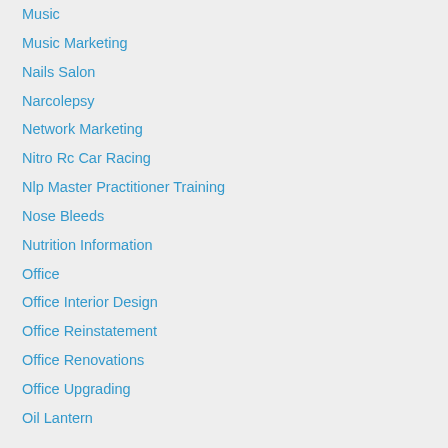Music
Music Marketing
Nails Salon
Narcolepsy
Network Marketing
Nitro Rc Car Racing
Nlp Master Practitioner Training
Nose Bleeds
Nutrition Information
Office
Office Interior Design
Office Reinstatement
Office Renovations
Office Upgrading
Oil Lantern